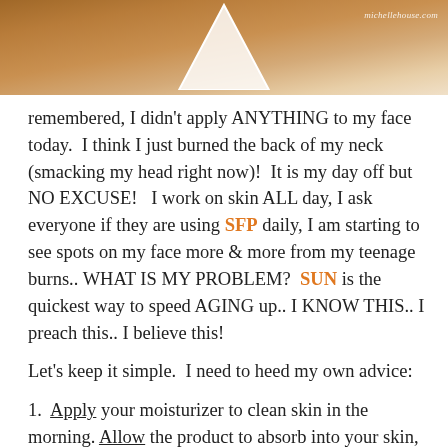[Figure (photo): Top portion of a photo showing skin/neck area with a white shape overlay and watermark 'michellehouse.com' in top right corner]
remembered, I didn't apply ANYTHING to my face today.  I think I just burned the back of my neck (smacking my head right now)!  It is my day off but NO EXCUSE!   I work on skin ALL day, I ask everyone if they are using SFP daily, I am starting to see spots on my face more & more from my teenage burns.. WHAT IS MY PROBLEM?  SUN is the quickest way to speed AGING up.. I KNOW THIS.. I preach this.. I believe this!
Let's keep it simple.  I need to heed my own advice:
1.  Apply your moisturizer to clean skin in the morning. Allow the product to absorb into your skin, this way your skin is less likely to want to absorb all the sunscreen into your pores, ultimately clogging them